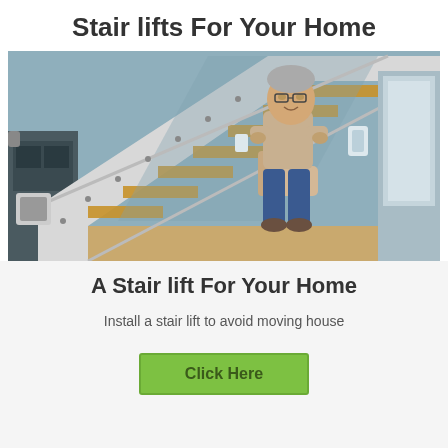Stair lifts For Your Home
[Figure (photo): An elderly man sitting on a stair lift chair on a modern staircase with glass balustrades and wooden steps, in a contemporary home interior with blue-grey walls.]
A Stair lift For Your Home
Install a stair lift to avoid moving house
Click Here